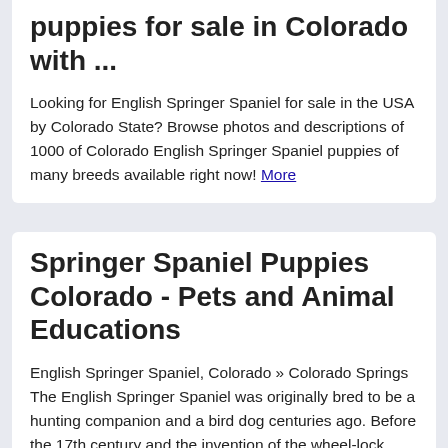puppies for sale in Colorado with ...
Looking for English Springer Spaniel for sale in the USA by Colorado State? Browse photos and descriptions of 1000 of Colorado English Springer Spaniel puppies of many breeds available right now! More
Springer Spaniel Puppies Colorado - Pets and Animal Educations
English Springer Spaniel, Colorado » Colorado Springs The English Springer Spaniel was originally bred to be a hunting companion and a bird dog centuries ago. Before the 17th century and the invention of the wheel-lock firearm